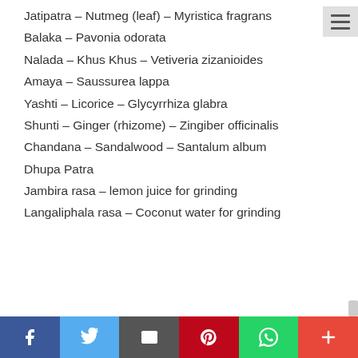Jatipatra – Nutmeg (leaf) – Myristica fragrans
Balaka – Pavonia odorata
Nalada – Khus Khus – Vetiveria zizanioides
Amaya – Saussurea lappa
Yashti – Licorice – Glycyrrhiza glabra
Shunti – Ginger (rhizome) – Zingiber officinalis
Chandana – Sandalwood – Santalum album
Dhupa Patra
Jambira rasa – lemon juice for grinding
Langaliphala rasa – Coconut water for grinding